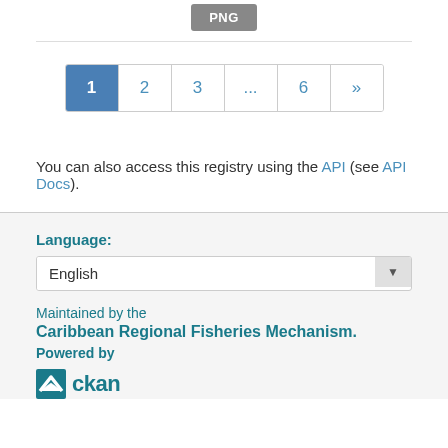[Figure (screenshot): PNG button/badge centered on white background]
[Figure (screenshot): Pagination control showing pages 1 (active/highlighted in blue), 2, 3, ..., 6, and next arrow]
You can also access this registry using the API (see API Docs).
Language:
English
Maintained by the
Caribbean Regional Fisheries Mechanism.
Powered by
[Figure (logo): CKAN logo: envelope icon followed by 'ckan' wordmark in teal]